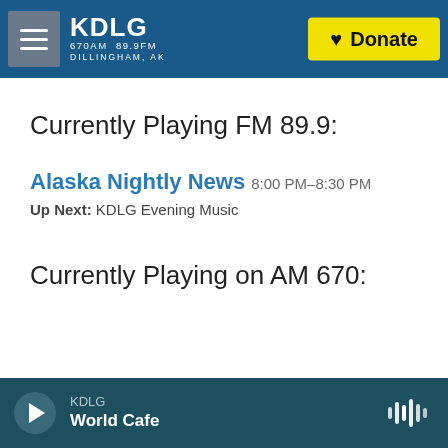KDLG 670AM 89.9FM DILLINGHAM, AK — Donate
Currently Playing FM 89.9:
Alaska Nightly News 8:00 PM–8:30 PM
Up Next: KDLG Evening Music
Currently Playing on AM 670:
KDLG World Cafe